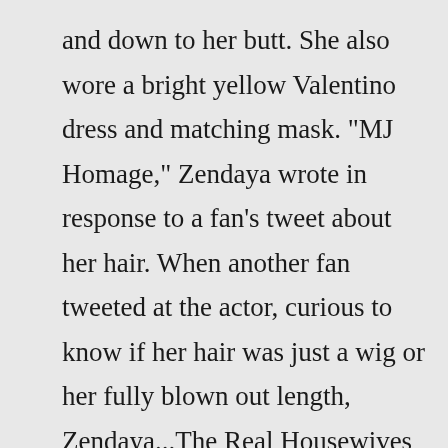and down to her butt. She also wore a bright yellow Valentino dress and matching mask. "MJ Homage," Zendaya wrote in response to a fan's tweet about her hair. When another fan tweeted at the actor, curious to know if her hair was just a wig or her fully blown out length, Zendaya...The Real Housewives of Atlanta The Bachelor Sister Wives 90 Day Fiance Wife Swap The Amazing Race ... Zendaya's bum (and Bum